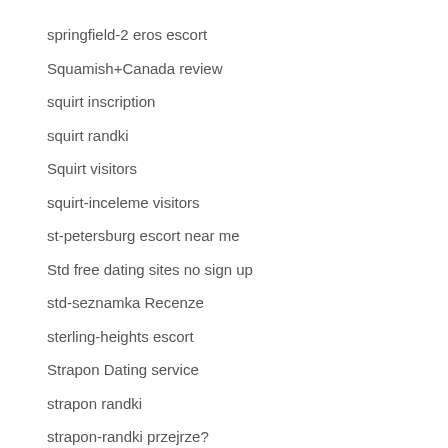springfield-2 eros escort
Squamish+Canada review
squirt inscription
squirt randki
Squirt visitors
squirt-inceleme visitors
st-petersburg escort near me
Std free dating sites no sign up
std-seznamka Recenze
sterling-heights escort
Strapon Dating service
strapon randki
strapon-randki przejrze?
strapon-tarihleme Siteler